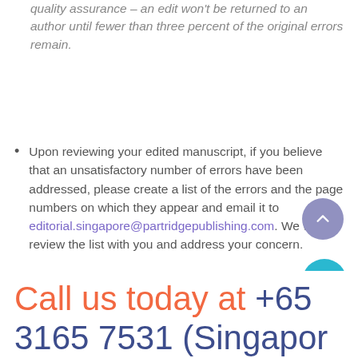quality assurance – an edit won’t be returned to an author until fewer than three percent of the original errors remain.
Upon reviewing your edited manuscript, if you believe that an unsatisfactory number of errors have been addressed, please create a list of the errors and the page numbers on which they appear and email it to editorial.singapore@partridgepublishing.com. We will review the list with you and address your concern.
Call us today at +65 3165 7531 (Singapore)